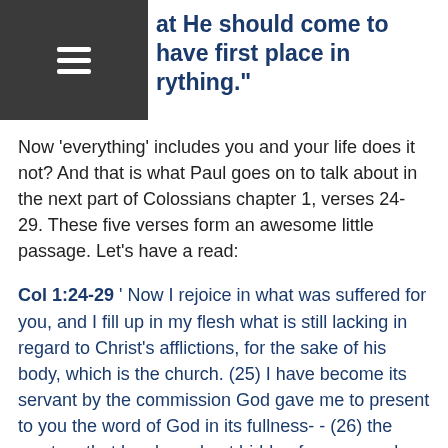at He should come to have first place in everything."
Now ‘everything’ includes you and your life does it not? And that is what Paul goes on to talk about in the next part of Colossians chapter 1, verses 24-29. These five verses form an awesome little passage. Let’s have a read:
Col 1:24-29 ‘ Now I rejoice in what was suffered for you, and I fill up in my flesh what is still lacking in regard to Christ’s afflictions, for the sake of his body, which is the church. (25) I have become its servant by the commission God gave me to present to you the word of God in its fullness- - (26) the mystery that has been kept hidden for ages and generations, but is now disclosed to the saints. (27) To them God has chosen to